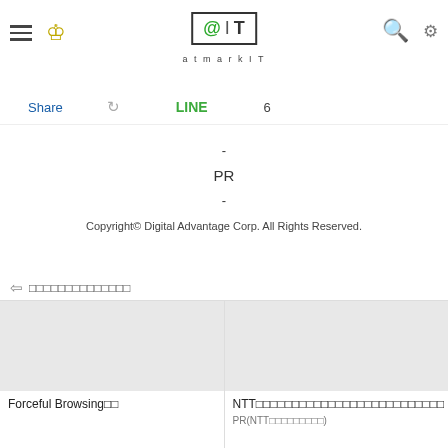@IT atmarkit
Share   LINE   6
-
PR
-
Copyright© Digital Advantage Corp. All Rights Reserved.
□□□□□□□□□□□□□□
[Figure (photo): Thumbnail image placeholder for Forceful Browsing article]
Forceful Browsing□□
[Figure (photo): Thumbnail image placeholder for NTT article]
NTT□□□□□□□□□□□□□□□□□□□□□□□□□□
PR(NTT□□□□□□□□□)